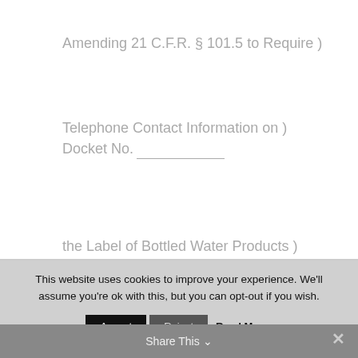Amending 21 C.F.R. § 101.5 to Require )
Telephone Contact Information on ) Docket No. ___________
the Label of Bottled Water Products )
Submitted by
International Bottled Water Association
This website uses cookies to improve your experience. We'll assume you're ok with this, but you can opt-out if you wish.
Accept  Reject  Read More
Share This